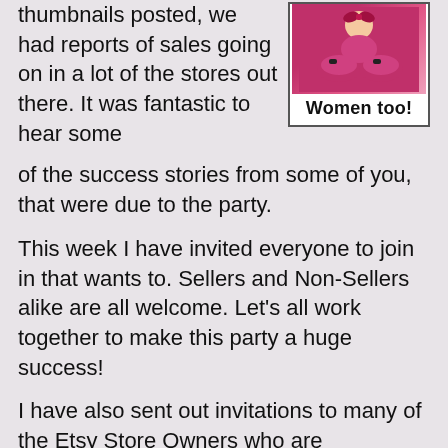thumbnails posted, we had reports of sales going on in a lot of the stores out there. It was fantastic to hear some of the success stories from some of you, that were due to the party.
[Figure (illustration): Image of pink shoes/slippers with a baby or figure, with caption 'Women too!' below, inside a bordered box]
This week I have invited everyone to join in that wants to. Sellers and Non-Sellers alike are all welcome. Let's all work together to make this party a huge success!
I have also sent out invitations to many of the Etsy Store Owners who are participating in the Christmas In July event. The CIJ event is almost over and hopefully this party will give their stores an extra little push, like it did for a